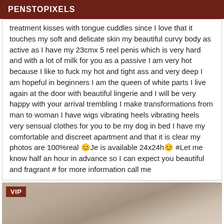PENSTOPIXELS
treatment kisses with tongue cuddles since I love that it touches my soft and delicate skin my beautiful curvy body as active as I have my 23cmx 5 reel penis which is very hard and with a lot of milk for you as a passive I am very hot because I like to fuck my hot and tight ass and very deep I am hopeful in beginners I am the queen of white parts I live again at the door with beautiful lingerie and I will be very happy with your arrival trembling I make transformations from man to woman I have wigs vibrating heels vibrating heels very sensual clothes for you to be my dog in bed I have my comfortable and discreet apartment and that it is clear my photos are 100%real 😊Je is available 24x24h😊 #Let me know half an hour in advance so I can expect you beautiful and fragrant # for more information call me
[Figure (photo): Photo with VIP badge in top-left corner, showing a person, partially cropped]